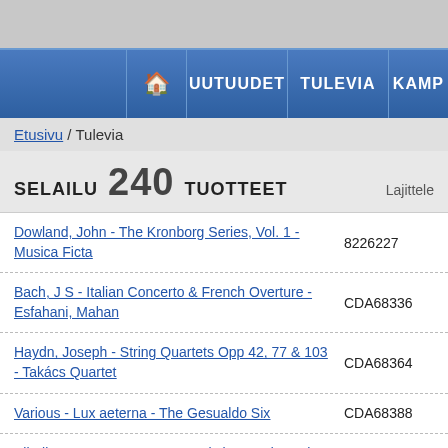[Figure (screenshot): Navigation bar with home icon, UUTUUDET, TULEVIA, KAMP menu items on blue gradient background]
Etusivu / Tulevia
SELAILU 240 TUOTTEET
| Product Name | Code |
| --- | --- |
| Dowland, John - The Kronborg Series, Vol. 1 - Musica Ficta | 8226227 |
| Bach, J S - Italian Concerto & French Overture - Esfahani, Mahan | CDA68336 |
| Haydn, Joseph - String Quartets Opp 42, 77 & 103 - Takács Quartet | CDA68364 |
| Various - Lux aeterna - The Gesualdo Six | CDA68388 |
| Sibelius, Jean - Serge Koussevitzky Conducts the London Philharmonic Orchestra | ARIADNE5017 |
| Charles Villiers Stanford - Children's Songs - Whately, Kitty | SOMMCD065 |
| Various - Metanoia – A Music Documentary (Bluray) - | ACC10550 |